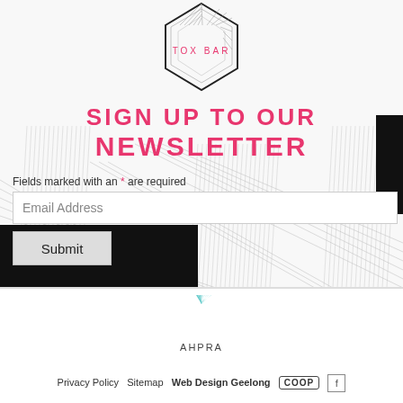[Figure (logo): TOX BAR hexagonal logo with geometric line pattern background]
SIGN UP TO OUR NEWSLETTER
Fields marked with an * are required
Email Address (input field)
Submit (button)
[Figure (logo): AHPRA logo - stylized teal fan/leaf shape with AHPRA text]
Privacy Policy   Sitemap   Web Design Geelong   COOP   [facebook icon]